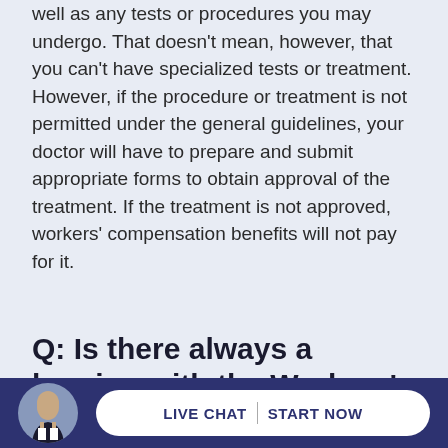well as any tests or procedures you may undergo. That doesn't mean, however, that you can't have specialized tests or treatment. However, if the procedure or treatment is not permitted under the general guidelines, your doctor will have to prepare and submit appropriate forms to obtain approval of the treatment. If the treatment is not approved, workers' compensation benefits will not pay for it.
Q: Is there always a hearing with the Workers' Compensation Board?
A: No. If your claim is approved and there are no
[Figure (other): Footer bar with dark blue background, circular avatar photo of a man in a suit, and a white pill-shaped button reading LIVE CHAT | START NOW]